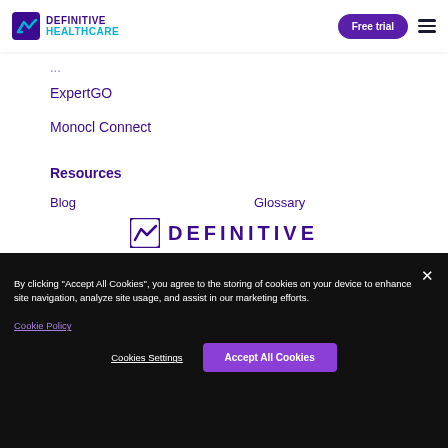Definitive Healthcare | Free trial
ExpertGO
Monocl Connect
Resources
Blog
Glossary
Podcast
View All Resources
[Figure (logo): Definitive Healthcare logo partially visible in footer area]
By clicking “Accept All Cookies”, you agree to the storing of cookies on your device to enhance site navigation, analyze site usage, and assist in our marketing efforts. Cookie Policy
Cookies Settings | Accept All Cookies